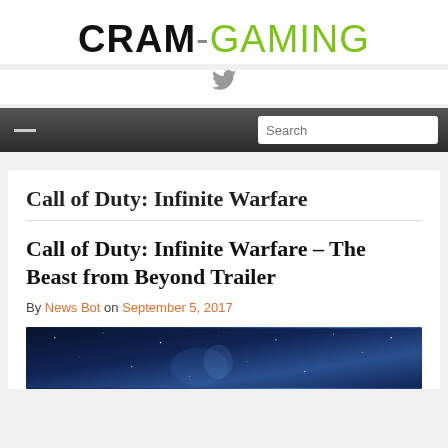CRAM-GAMING
[Figure (logo): Twitter bird icon in grey]
Search
Call of Duty: Infinite Warfare
Call of Duty: Infinite Warfare – The Beast from Beyond Trailer
By News Bot on September 5, 2017
[Figure (photo): Dark blue space scene with stars and light beams]